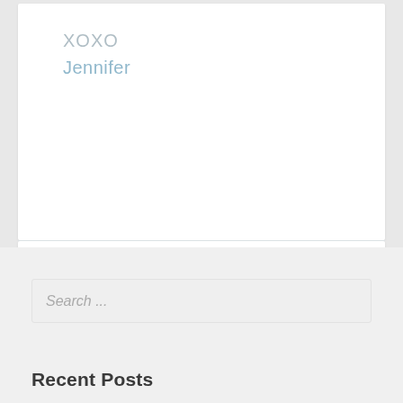XOXO
Jennifer
Search ...
Recent Posts